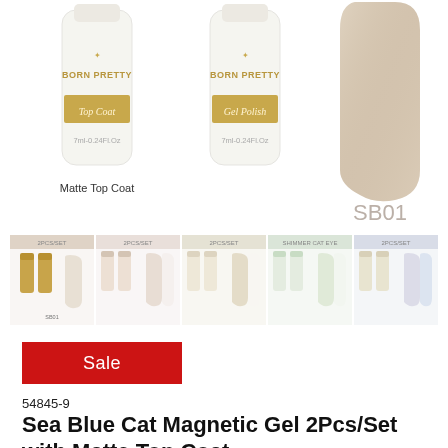[Figure (photo): Product photo showing two Born Pretty nail gel bottles (Top Coat and Gel Polish, 7ml-0.24Fl.Oz each) with a nail swatch labeled SB01 showing a sandy beige shimmer color. Caption below bottles reads 'Matte Top Coat'.]
[Figure (photo): Row of five thumbnail images showing different product sets with nail swatches in various light/pastel shades.]
[Figure (other): Red sale badge with white text 'Sale']
54845-9
Sea Blue Cat Magnetic Gel 2Pcs/Set with Matte Top Coat